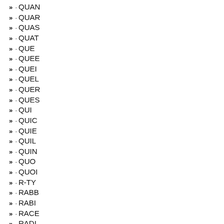» · QUAN
» · QUAR
» · QUAS
» · QUAT
» · QUE
» · QUEE
» · QUEI
» · QUEL
» · QUER
» · QUES
» · QUI
» · QUIC
» · QUIE
» · QUIL
» · QUIN
» · QUO
» · QUOI
» · R-TY
» · RABB
» · RABI
» · RACE
» · RADI
» · RAG.
» · RAGA
» · RAGE
» · RAGG
» · RAGI